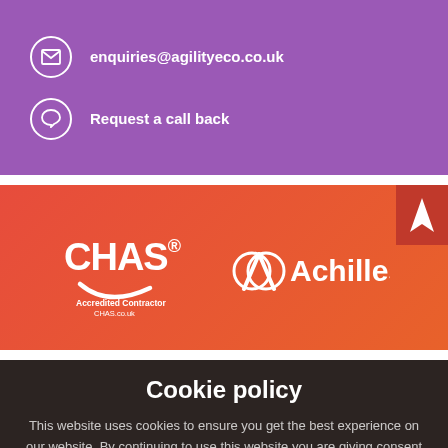enquiries@agilityeco.co.uk
Request a call back
[Figure (logo): CHAS Accredited Contractor logo and Achilles logo on orange/red background]
Cookie policy
This website uses cookies to ensure you get the best experience on our website. By continuing to use this website you are giving consent to cookies being used.
ACCEPT   More information